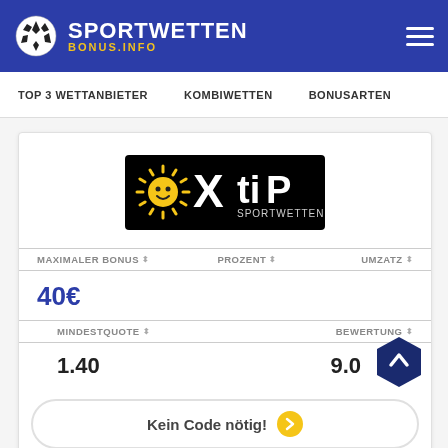[Figure (logo): Sportwetten Bonus.info logo with soccer ball icon and white/yellow text on blue background]
TOP 3 WETTANBIETER  KOMBIWETTEN  BONUSARTEN
[Figure (logo): XTiP Sportwetten logo - white X and TiP text with yellow sun/star graphic on black background]
| MAXIMALER BONUS | PROZENT | UMZATZ |
| --- | --- | --- |
| 40€ |  |  |
| MINDESTQUOTE | BEWERTUNG |
| --- | --- |
| 1.40 | 9.0 |
Kein Code nötig!